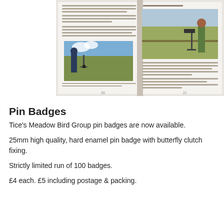[Figure (photo): An open book showing two pages with text and photographs of people birdwatching/surveying with camera equipment in outdoor meadow settings.]
Pin Badges
Tice's Meadow Bird Group pin badges are now available.
25mm high quality, hard enamel pin badge with butterfly clutch fixing.
Strictly limited run of 100 badges.
£4 each. £5 including postage & packing.